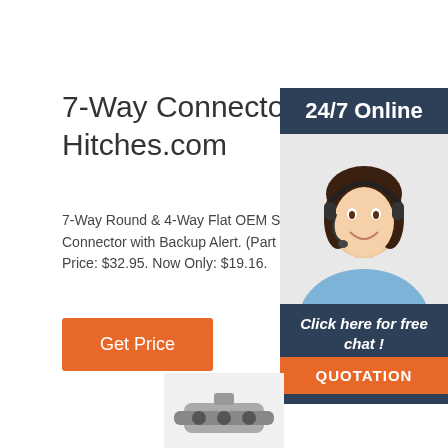7-Way Connectors - Ree… Hitches.com
7-Way Round & 4-Way Flat OEM Style Ca… Connector with Backup Alert. (Part #: 204… Price: $32.95. Now Only: $19.16.
Get Price
[Figure (photo): Customer service agent woman with headset smiling, with '24/7 Online' header bar, 'Click here for free chat!' text, and orange 'QUOTATION' button on dark blue panel]
[Figure (photo): Partial image of a connector/hitch product at the bottom of the page]